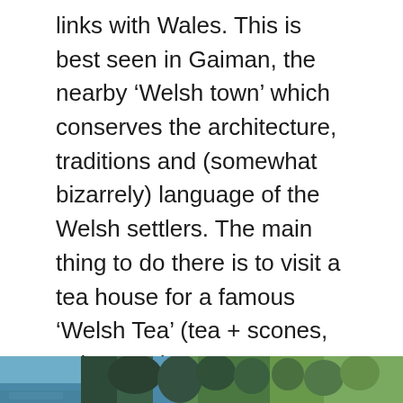links with Wales. This is best seen in Gaiman, the nearby ‘Welsh town’ which conserves the architecture, traditions and (somewhat bizarrely) language of the Welsh settlers. The main thing to do there is to visit a tea house for a famous ‘Welsh Tea’ (tea + scones, cakes etc.).
Puerto Madryn is located either a short flight or an ass-crippling, mind-numbing 17 hr bus ride from Buenos Aires.
El Bolsón
[Figure (photo): Partial landscape photo at bottom of page showing blue water/sky on left and green trees/foliage on right]